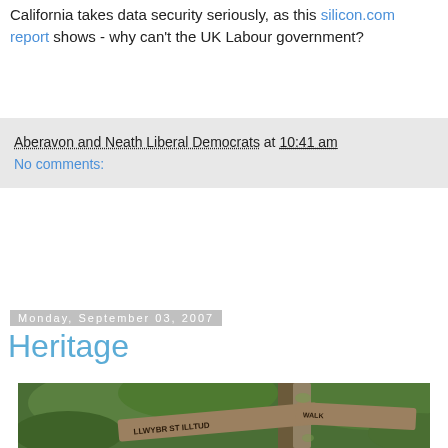California takes data security seriously, as this silicon.com report shows - why can't the UK Labour government?
Aberavon and Neath Liberal Democrats at 10:41 am
No comments:
Monday, September 03, 2007
Heritage
[Figure (photo): Wooden cross-shaped signpost in a green wooded area reading 'LLWYBR ST ILLTUD WALK']